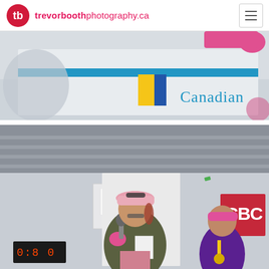trevorboothphotography.ca
[Figure (photo): Close-up partial view of a banner or vehicle with 'Canadian' text visible, blue stripe, and pink/colorful decorations. Blurred foreground with pink elements.]
[Figure (photo): Outdoor event scene showing a woman in a pink cap, sunglasses, and olive jacket speaking into a microphone while holding papers. Another woman in a purple shirt and pink cap with a medal stands behind her. CBC logo sign visible on right. Event appears to be a fundraising run/walk.]